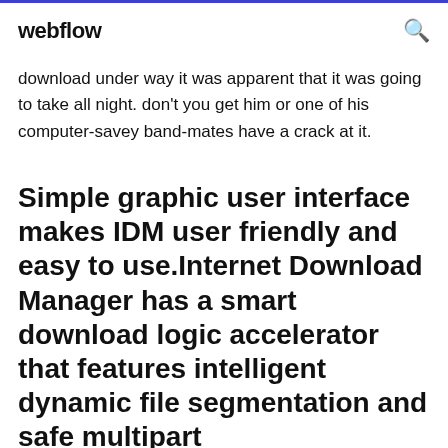webflow
download under way it was apparent that it was going to take all night. don't you get him or one of his computer-savey band-mates have a crack at it.
Simple graphic user interface makes IDM user friendly and easy to use.Internet Download Manager has a smart download logic accelerator that features intelligent dynamic file segmentation and safe multipart downloading technology